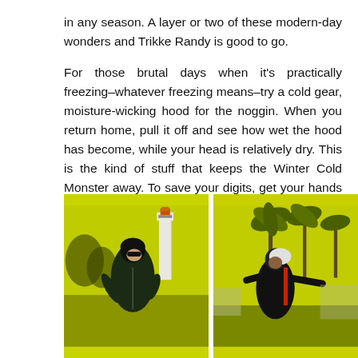in any season. A layer or two of these modern-day wonders and Trikke Randy is good to go.
For those brutal days when it's practically freezing–whatever freezing means–try a cold gear, moisture-wicking hood for the noggin. When you return home, pull it off and see how wet the hood has become, while your head is relatively dry. This is the kind of stuff that keeps the Winter Cold Monster away. To save your digits, get your hands on some cold gear gloves.
[Figure (photo): Two side-by-side photos with a yellow-green tint. Left photo: person in dark jacket and helmet smiling outdoors with a lighthouse and trees in the background. Right photo: person in dark outfit with arms outstretched, palm trees and structures in the background.]